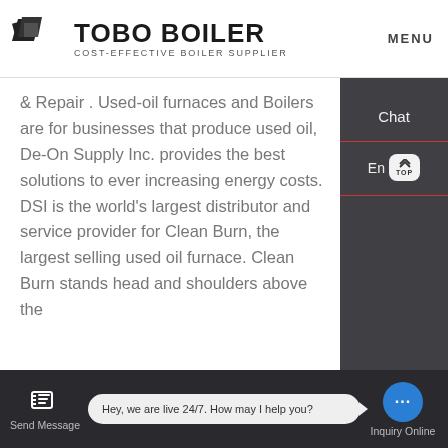[Figure (logo): TOBO BOILER logo with geometric icon and tagline COST-EFFECTIVE BOILER SUPPLIER]
MENU
& Repair . Used-oil furnaces and Boilers are for businesses that produce used oil, De-On Supply Inc. provides the best solutions to ever increasing energy costs. DSI is the world's largest distributor and service provider for Clean Burn, the largest selling used oil furnace. Clean Burn stands head and shoulders above the
Learn More ...
[Figure (photo): Industrial boiler or machinery equipment photo]
[Figure (screenshot): Right sidebar with Chat, Email (En), Contact options on dark background with TOP button]
Send Message   Hey, we are live 24/7. How may I help you?   Inquiry Online